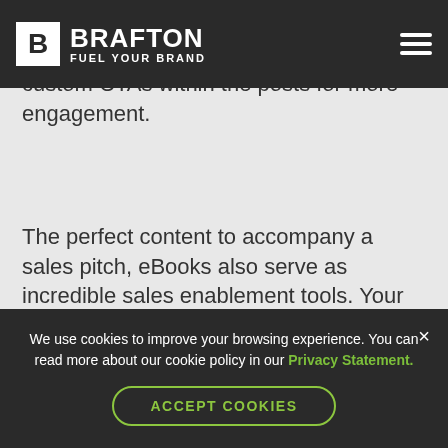[Figure (logo): Brafton logo with 'B' in white box and text 'BRAFTON FUEL YOUR BRAND' in white, plus hamburger menu icon, all on dark background nav bar]
We can also create blog content around the subject to the eBook or embedding custom CTAs within the posts for more engagement.
The perfect content to accompany a sales pitch, eBooks also serve as incredible sales enablement tools. Your business development executives can distribute them to prospective customers, impressing them with a visually appealing yet informative asset.
With help from Brafton's promotion services,
We use cookies to improve your browsing experience. You can read more about our cookie policy in our Privacy Statement.
ACCEPT COOKIES